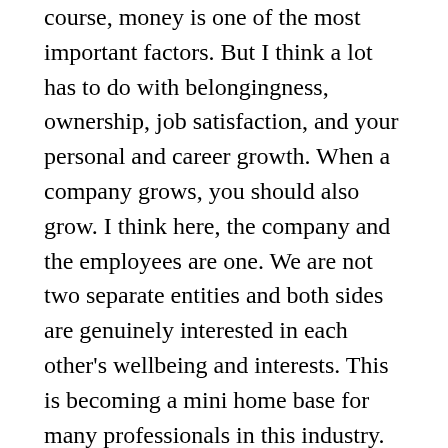course, money is one of the most important factors. But I think a lot has to do with belongingness, ownership, job satisfaction, and your personal and career growth. When a company grows, you should also grow. I think here, the company and the employees are one. We are not two separate entities and both sides are genuinely interested in each other's wellbeing and interests. This is becoming a mini home base for many professionals in this industry. Of course, along the way some have joined us, they have growth, and they have left us and joined somewhere else for their career development … even if they are somewhere else, they are always very proud that they have been with us, this was their home, they always feel they are part of this family. I think that is one of the most valuable things here.